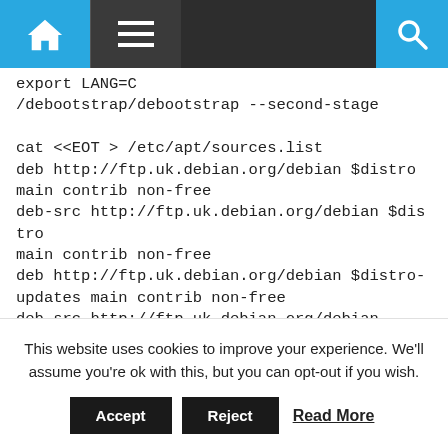Navigation bar with home, menu, and search icons
export LANG=C
/debootstrap/debootstrap --second-stage

cat <<EOT > /etc/apt/sources.list
deb http://ftp.uk.debian.org/debian $distro main contrib non-free
deb-src http://ftp.uk.debian.org/debian $distro main contrib non-free
deb http://ftp.uk.debian.org/debian $distro-updates main contrib non-free
deb-src http://ftp.uk.debian.org/debian $distro-updates main contrib non-free
deb http://security.debian.org/debian-security $distro/updates main contrib non-free
deb-src http://security.debian.org/debian-security $distro/updates main contrib non-free
--
This website uses cookies to improve your experience. We'll assume you're ok with this, but you can opt-out if you wish.
Accept  Reject  Read More